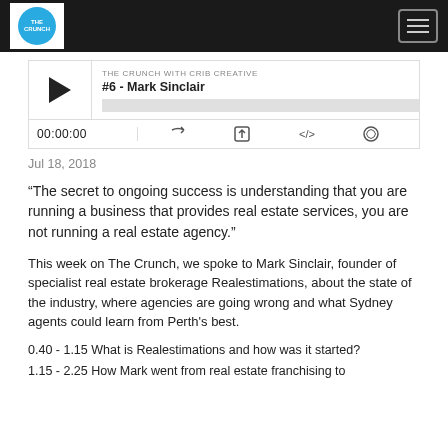THE CRUNCH WITH CRIB CREATIVE — logo and navigation
[Figure (screenshot): Podcast player showing episode #6 - Mark Sinclair with play button, progress bar, time display 00:00:00 and control icons]
Jul 18, 2018
“The secret to ongoing success is understanding that you are running a business that provides real estate services, you are not running a real estate agency.”
This week on The Crunch, we spoke to Mark Sinclair, founder of specialist real estate brokerage Realestimations, about the state of the industry, where agencies are going wrong and what Sydney agents could learn from Perth’s best.
0.40 - 1.15 What is Realestimations and how was it started?
1.15 - 2.25 How Mark went from real estate franchising to